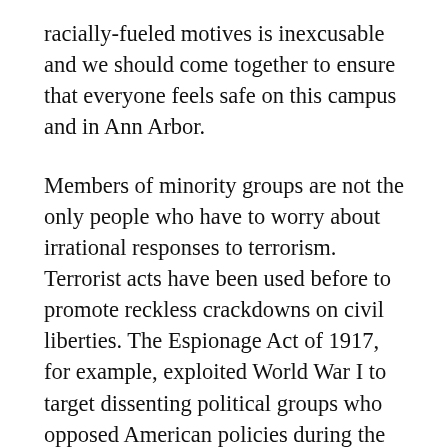racially-fueled motives is inexcusable and we should come together to ensure that everyone feels safe on this campus and in Ann Arbor.
Members of minority groups are not the only people who have to worry about irrational responses to terrorism. Terrorist acts have been used before to promote reckless crackdowns on civil liberties. The Espionage Act of 1917, for example, exploited World War I to target dissenting political groups who opposed American policies during the war. The perpetrators of yesterday’s assault have already taken more than we can comprehend we should not allow their actions to be an